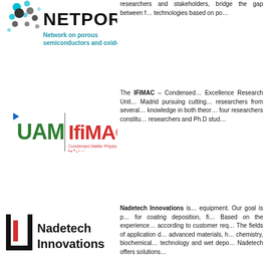[Figure (logo): NETPORE logo - Network on porous semiconductors and oxides, with cyan and dark circular dot patterns]
researchers and stakeholders, bridge the gap between f... technologies based on po...
[Figure (logo): UAM and IfiMAC logos side by side - UAM in green, IfiMAC in red, Condensed Matter Physics Center]
The IFIMAC – Condensed... Excellence Research Unit... Madrid pursuing cutting... researchers from several... knowledge in both theor... four researchers constitu... researchers and Ph.D stud...
[Figure (logo): Nadetech Innovations logo - black square bracket U shape with red element, company name in bold]
Nadetech Innovations is... equipment. Our goal is p... for coating deposition, fi... Based on the experience... according to customer req... The fields of application d... advanced materials, h... chemistry, biochemical... technology and wet depo... Nadetech offers solutions...